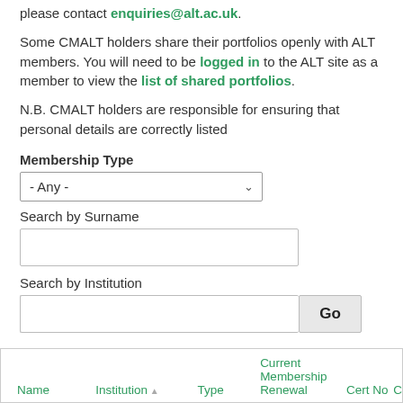please contact enquiries@alt.ac.uk.
Some CMALT holders share their portfolios openly with ALT members. You will need to be logged in to the ALT site as a member to view the list of shared portfolios.
N.B. CMALT holders are responsible for ensuring that personal details are correctly listed
Membership Type
- Any -
Search by Surname
Search by Institution
Go
| Name | Institution | Type | Current Membership Renewal | Cert No | C |
| --- | --- | --- | --- | --- | --- |